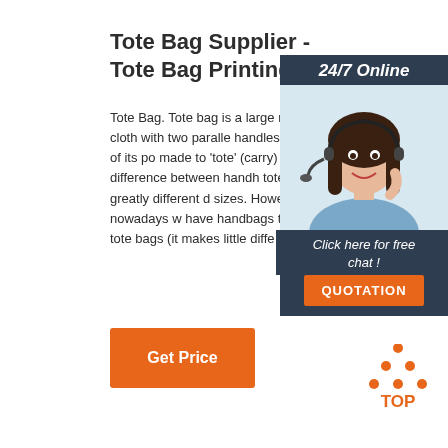Tote Bag Supplier - Tote Bag Printing
Tote Bag. Tote bag is a large made of cloth with two paralle handles at the sides of its po made to 'tote' (carry) things. the difference between handh tote bag is greatly different d sizes. However, nowadays w have handbags that are the s tote bags (it makes little diffe both ...
[Figure (screenshot): Chat widget with 24/7 Online label, photo of a woman with headset, 'Click here for free chat!' text, and QUOTATION orange button]
[Figure (logo): TOP logo with orange dots triangle and TOP text in orange]